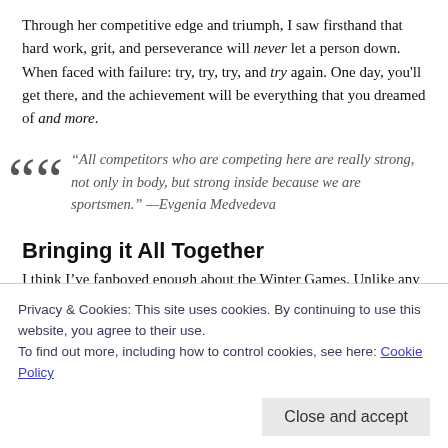Through her competitive edge and triumph, I saw firsthand that hard work, grit, and perseverance will never let a person down. When faced with failure: try, try, try, and try again. One day, you'll get there, and the achievement will be everything that you dreamed of and more.
“All competitors who are competing here are really strong, not only in body, but strong inside because we are sportsmen.” —Evgenia Medvedeva
Bringing it All Together
I think I’ve fanboyed enough about the Winter Games. Unlike any other competition in the WORLD, the Olympics has the power to unite practically all people on the planet in
Privacy & Cookies: This site uses cookies. By continuing to use this website, you agree to their use.
To find out more, including how to control cookies, see here: Cookie Policy
watching the Olympics, we are reminded that talented,